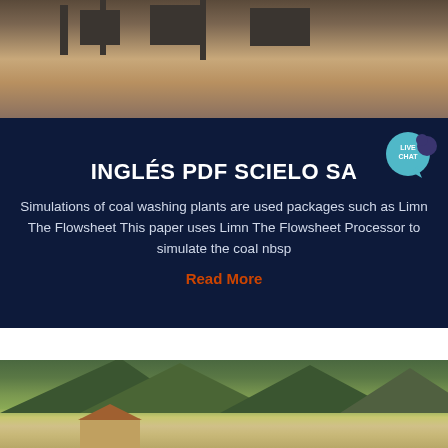[Figure (photo): Industrial/mining facility with structures and equipment on a flat dusty terrain, top portion of page]
INGLÉS PDF SCIELO SA
Simulations of coal washing plants are used packages such as Limn The Flowsheet This paper uses Limn The Flowsheet Processor to simulate the coal nbsp
Read More
[Figure (photo): Rural landscape with green mountains in the background and houses/buildings in the foreground with fields]